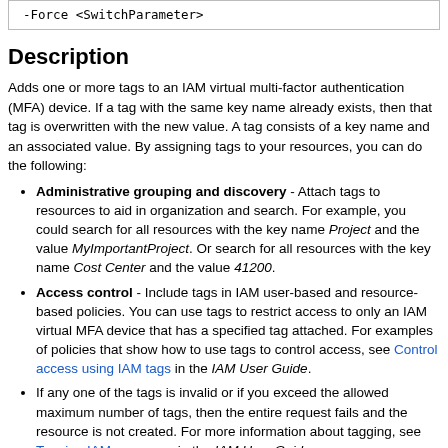-Force <SwitchParameter>
Description
Adds one or more tags to an IAM virtual multi-factor authentication (MFA) device. If a tag with the same key name already exists, then that tag is overwritten with the new value. A tag consists of a key name and an associated value. By assigning tags to your resources, you can do the following:
Administrative grouping and discovery - Attach tags to resources to aid in organization and search. For example, you could search for all resources with the key name Project and the value MyImportantProject. Or search for all resources with the key name Cost Center and the value 41200.
Access control - Include tags in IAM user-based and resource-based policies. You can use tags to restrict access to only an IAM virtual MFA device that has a specified tag attached. For examples of policies that show how to use tags to control access, see Control access using IAM tags in the IAM User Guide.
If any one of the tags is invalid or if you exceed the allowed maximum number of tags, then the entire request fails and the resource is not created. For more information about tagging, see Tagging IAM resources in the IAM User Guide.